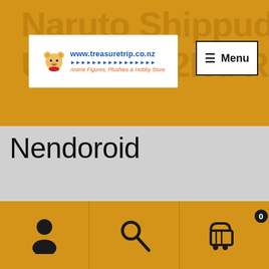Naruto Shippuden Uzumaki(2Nd Re-Run)
[Figure (logo): TreasureTrip logo with teddy bear, www.treasuretrip.co.nz, Anime Figures, Plushies & Hobby Store]
Menu
Nendoroid
$99.95
or 4 interest-free payments of $24.99 with
[Figure (logo): Afterpay logo badge in mint green]
Out of stock
User icon | Search icon | Cart (0)